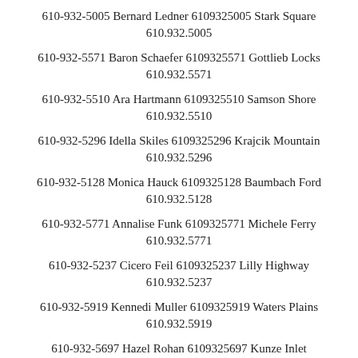610-932-5005 Bernard Ledner 6109325005 Stark Square 610.932.5005
610-932-5571 Baron Schaefer 6109325571 Gottlieb Locks 610.932.5571
610-932-5510 Ara Hartmann 6109325510 Samson Shore 610.932.5510
610-932-5296 Idella Skiles 6109325296 Krajcik Mountain 610.932.5296
610-932-5128 Monica Hauck 6109325128 Baumbach Ford 610.932.5128
610-932-5771 Annalise Funk 6109325771 Michele Ferry 610.932.5771
610-932-5237 Cicero Feil 6109325237 Lilly Highway 610.932.5237
610-932-5919 Kennedi Muller 6109325919 Waters Plains 610.932.5919
610-932-5697 Hazel Rohan 6109325697 Kunze Inlet 610.932.5697